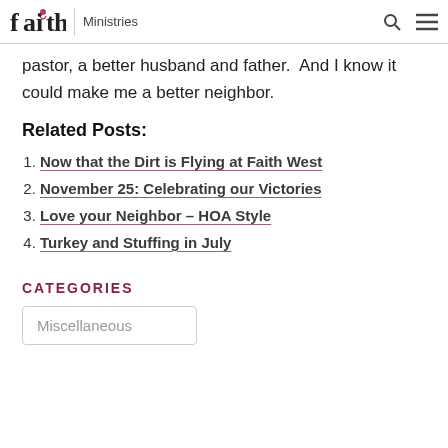faith | Ministries
pastor, a better husband and father.  And I know it could make me a better neighbor.
Related Posts:
Now that the Dirt is Flying at Faith West
November 25: Celebrating our Victories
Love your Neighbor – HOA Style
Turkey and Stuffing in July
CATEGORIES
Miscellaneous